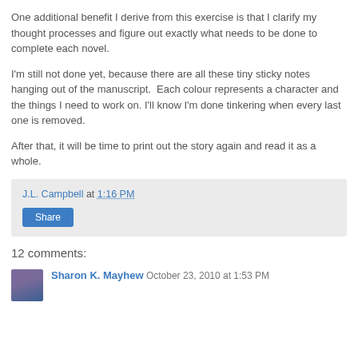One additional benefit I derive from this exercise is that I clarify my thought processes and figure out exactly what needs to be done to complete each novel.
I'm still not done yet, because there are all these tiny sticky notes hanging out of the manuscript.  Each colour represents a character and the things I need to work on. I'll know I'm done tinkering when every last one is removed.
After that, it will be time to print out the story again and read it as a whole.
J.L. Campbell at 1:16 PM
Share
12 comments:
Sharon K. Mayhew  October 23, 2010 at 1:53 PM